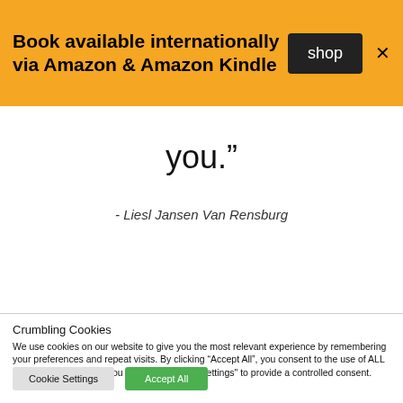Book available internationally via Amazon & Amazon Kindle
you.”
- Liesl Jansen Van Rensburg
Crumbling Cookies
We use cookies on our website to give you the most relevant experience by remembering your preferences and repeat visits. By clicking “Accept All”, you consent to the use of ALL the cookies. However, you may visit "Cookie Settings" to provide a controlled consent.